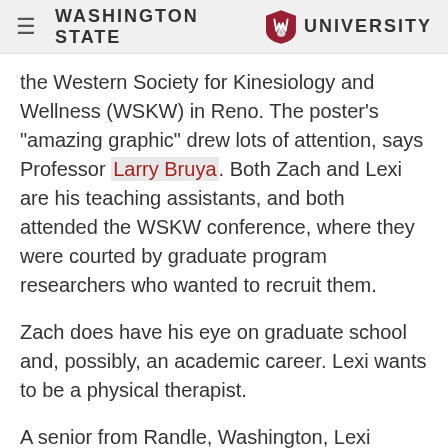Washington State University
the Western Society for Kinesiology and Wellness (WSKW) in Reno. The poster’s “amazing graphic” drew lots of attention, says Professor Larry Bruya. Both Zach and Lexi are his teaching assistants, and both attended the WSKW conference, where they were courted by graduate program researchers who wanted to recruit them.
Zach does have his eye on graduate school and, possibly, an academic career. Lexi wants to be a physical therapist.
A senior from Randle, Washington, Lexi started out as a neuroscience major. When she switched to movement studies, she